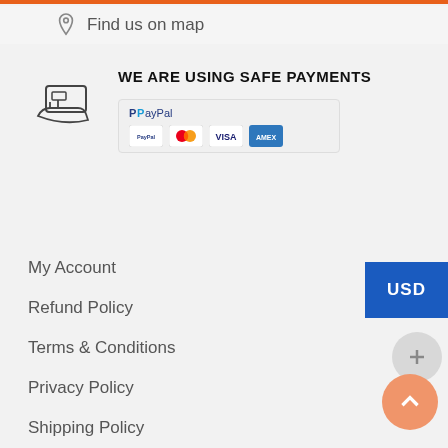Find us on map
WE ARE USING SAFE PAYMENTS
[Figure (logo): Payment methods badge showing PayPal, Mastercard, Visa, and American Express logos]
My Account
Refund Policy
Terms & Conditions
Privacy Policy
Shipping Policy
Contact Us